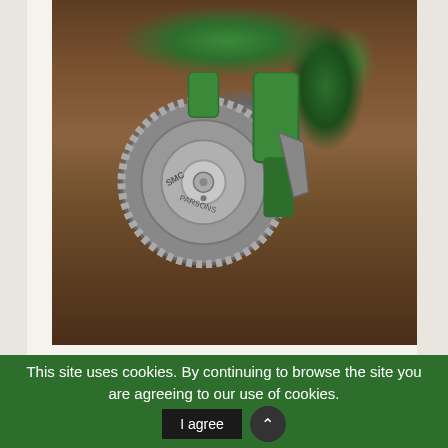[Figure (photo): Close-up photograph of a green mechanical seeder wheel/disc with silver metallic hub and gear rim, resting on wood chip mulch. The wheel has 'SMC' or similar branding on the hub. The device appears to be a garden seeding tool with a green plastic frame and metal components.]
This site uses cookies. By continuing to browse the site you are agreeing to our use of cookies.